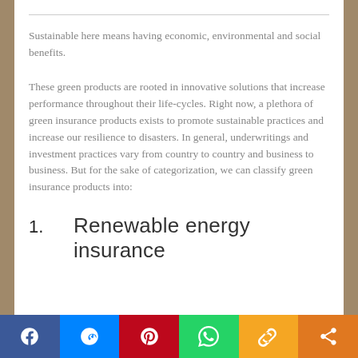Sustainable here means having economic, environmental and social benefits.
These green products are rooted in innovative solutions that increase performance throughout their life-cycles. Right now, a plethora of green insurance products exists to promote sustainable practices and increase our resilience to disasters. In general, underwritings and investment practices vary from country to country and business to business. But for the sake of categorization, we can classify green insurance products into:
1.    Renewable energy insurance